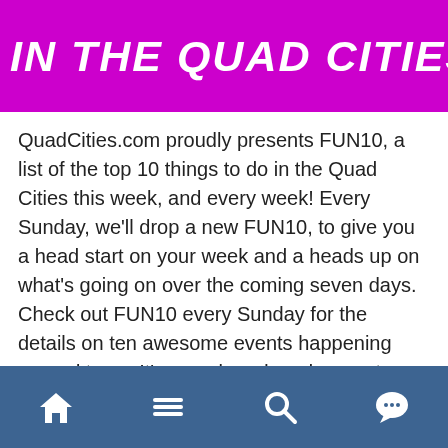IN THE QUAD CITIES THIS WEEK
QuadCities.com proudly presents FUN10, a list of the top 10 things to do in the Quad Cities this week, and every week! Every Sunday, we'll drop a new FUN10, to give you a head start on your week and a heads up on what's going on over the coming seven days. Check out FUN10 every Sunday for the details on ten awesome events happening around town. It's a cool read, and a great way to get started planning your entertainment for the week. As the current health situation in our country continues to force the cancellation of so many regularly scheduled events in the Quad Cities, we are once again... Read More
Navigation bar with home, menu, search, and chat icons